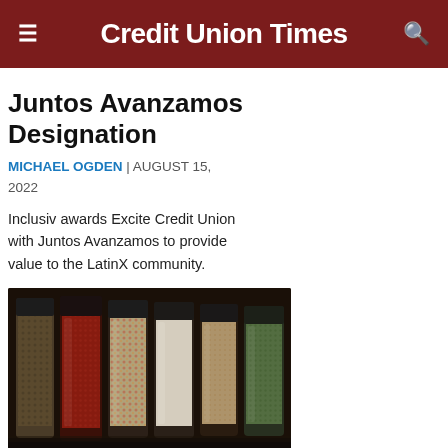Credit Union Times
Juntos Avanzamos Designation
MICHAEL OGDEN | AUGUST 15, 2022
Inclusiv awards Excite Credit Union with Juntos Avanzamos to provide value to the LatinX community.
[Figure (photo): Close-up of a row of glass spice jars with various spices, photographed with shallow depth of field against a dark background.]